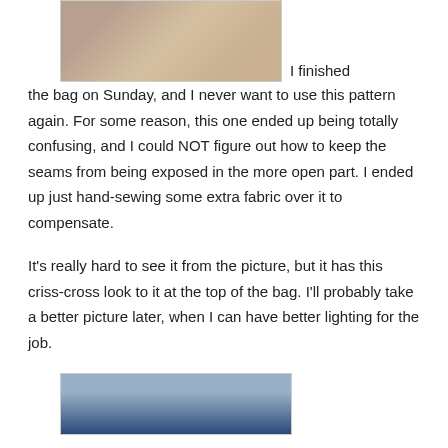[Figure (photo): Partial view of a bag with decorative fabric, cropped at top of page]
I finished the bag on Sunday, and I never want to use this pattern again. For some reason, this one ended up being totally confusing, and I could NOT figure out how to keep the seams from being exposed in the more open part. I ended up just hand-sewing some extra fabric over it to compensate.
It's really hard to see it from the picture, but it has this criss-cross look to it at the top of the bag. I'll probably take a better picture later, when I can have better lighting for the job.
[Figure (photo): Partial view of a blue bag or apron, bottom of page]